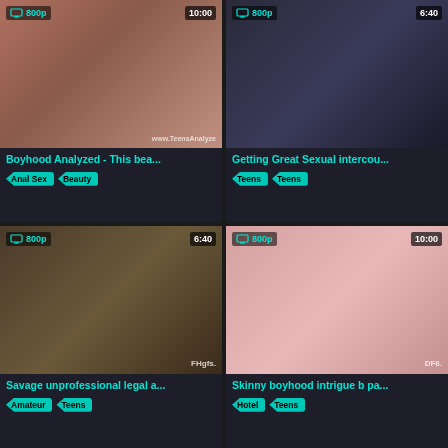[Figure (screenshot): Video thumbnail - adult content card 1 with 800p badge and 10:00 duration]
Boyhood Analyzed - This bea...
Anal Sex
Beauty
[Figure (screenshot): Video thumbnail - adult content card 2 with 800p badge and 6:40 duration]
Getting Great Sexual intercou...
Teens
Teens
[Figure (screenshot): Video thumbnail - adult content card 3 with 800p badge and 6:40 duration, FHgfs watermark]
Savage unprofessional legal a...
Amateur
Teens
[Figure (screenshot): Video thumbnail - adult content card 4 with 800p badge and 10:00 duration, DF6 watermark]
Skinny boyhood intrigue b pa...
Hotel
Teens